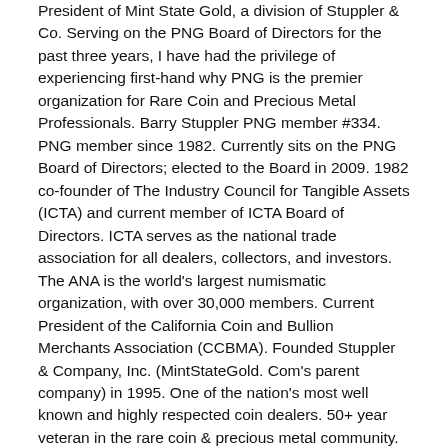President of Mint State Gold, a division of Stuppler & Co. Serving on the PNG Board of Directors for the past three years, I have had the privilege of experiencing first-hand why PNG is the premier organization for Rare Coin and Precious Metal Professionals. Barry Stuppler PNG member #334. PNG member since 1982. Currently sits on the PNG Board of Directors; elected to the Board in 2009. 1982 co-founder of The Industry Council for Tangible Assets (ICTA) and current member of ICTA Board of Directors. ICTA serves as the national trade association for all dealers, collectors, and investors. The ANA is the world's largest numismatic organization, with over 30,000 members. Current President of the California Coin and Bullion Merchants Association (CCBMA). Founded Stuppler & Company, Inc. (MintStateGold. Com's parent company) in 1995. One of the nation's most well known and highly respected coin dealers. 50+ year veteran in the rare coin & precious metal community. PNG Collector's Bill of Rights. To reaffirm PNG's commitment to collectors and the numismatic fraternity, the Professional Numismatists Guild has adopted a Collector's Bill of Rights. This ten-point pledge of consumer protection and education puts extra security into the hands of collectors, letting them know they can do business in the way it should be done — in a